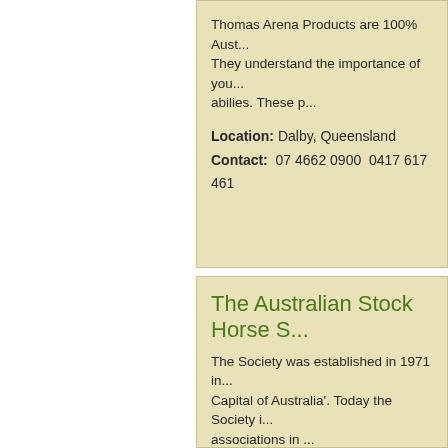Thomas Arena Products are 100% Aust... They understand the importance of you... abilies. These p...
Location: Dalby, Queensland
Contact: 07 4662 0900  0417 617 461
The Australian Stock Horse S...
The Society was established in 1971 in... Capital of Australia'. Today the Society i... associations in ...
Location: Scone, New South Wales
Contact: (02) 6545 1122